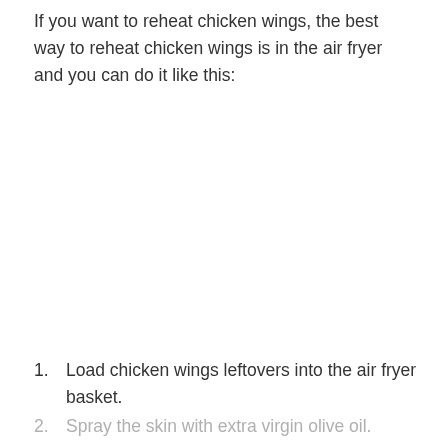If you want to reheat chicken wings, the best way to reheat chicken wings is in the air fryer and you can do it like this:
Load chicken wings leftovers into the air fryer basket.
Spray the skin with extra virgin olive oil.